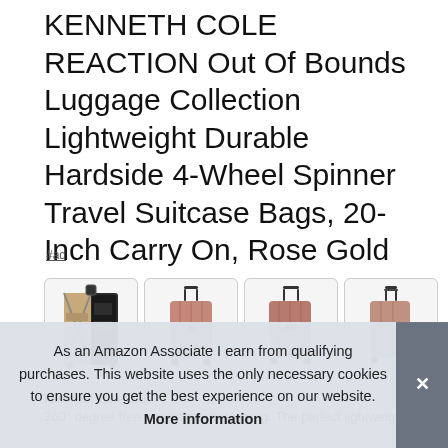KENNETH COLE REACTION Out Of Bounds Luggage Collection Lightweight Durable Hardside 4-Wheel Spinner Travel Suitcase Bags, 20-Inch Carry On, Rose Gold
#ad
[Figure (photo): Four product thumbnail images of the Kenneth Cole REACTION Rose Gold suitcase: open interior view, front view, side view, rear view]
Kenneth Cole multi... 360° degree free weight manoeuvering. The perfect lightweight
As an Amazon Associate I earn from qualifying purchases. This website uses the only necessary cookies to ensure you get the best experience on our website. More information